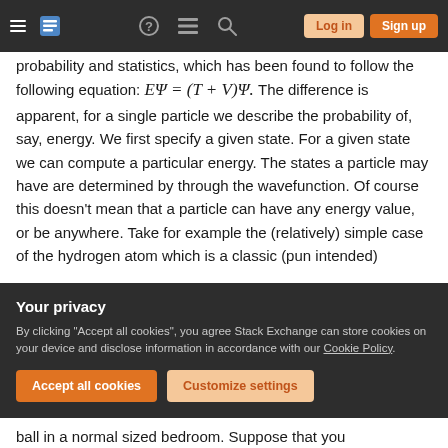Stack Exchange navigation bar with hamburger menu, logo, help, chat, search icons, Log in and Sign up buttons
probability and statistics, which has been found to follow the following equation: EΨ = (T + V)Ψ. The difference is apparent, for a single particle we describe the probability of, say, energy. We first specify a given state. For a given state we can compute a particular energy. The states a particle may have are determined by through the wavefunction. Of course this doesn't mean that a particle can have any energy value, or be anywhere. Take for example the (relatively) simple case of the hydrogen atom which is a classic (pun intended)
Your privacy
By clicking "Accept all cookies", you agree Stack Exchange can store cookies on your device and disclose information in accordance with our Cookie Policy.
ball in a normal sized bedroom. Suppose that you